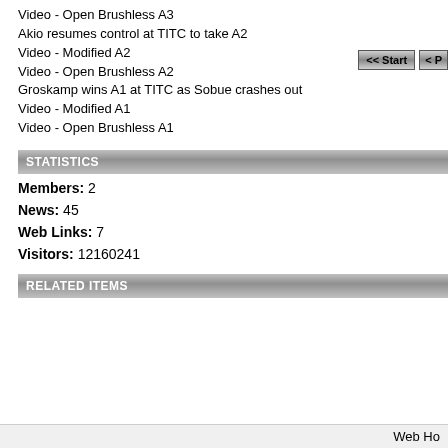Video - Open Brushless A3
Akio resumes control at TITC to take A2
Video - Modified A2
Video - Open Brushless A2
Groskamp wins A1 at TITC as Sobue crashes out
Video - Modified A1
Video - Open Brushless A1
STATISTICS
Members: 2
News: 45
Web Links: 7
Visitors: 12160241
RELATED ITEMS
Web Ho